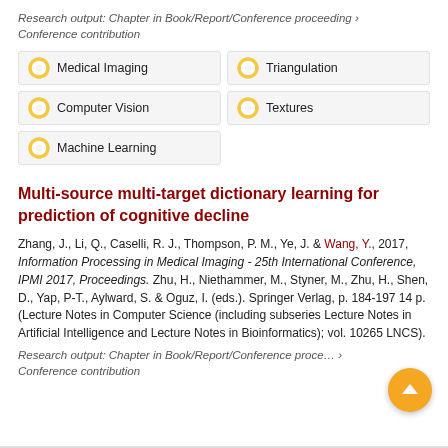Research output: Chapter in Book/Report/Conference proceeding › Conference contribution
Medical Imaging
Triangulation
Computer Vision
Textures
Machine Learning
Multi-source multi-target dictionary learning for prediction of cognitive decline
Zhang, J., Li, Q., Caselli, R. J., Thompson, P. M., Ye, J. & Wang, Y., 2017, Information Processing in Medical Imaging - 25th International Conference, IPMI 2017, Proceedings. Zhu, H., Niethammer, M., Styner, M., Zhu, H., Shen, D., Yap, P-T., Aylward, S. & Oguz, I. (eds.). Springer Verlag, p. 184-197 14 p. (Lecture Notes in Computer Science (including subseries Lecture Notes in Artificial Intelligence and Lecture Notes in Bioinformatics); vol. 10265 LNCS).
Research output: Chapter in Book/Report/Conference proceeding › Conference contribution